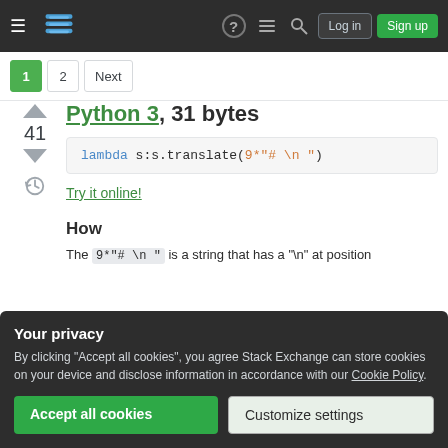Stack Exchange navigation bar with Log in and Sign up buttons
1  2  Next (pagination)
Python 3, 31 bytes
[Figure (screenshot): Code block: lambda s:s.translate(9*"# \n ")]
Try it online!
How
The 9*"# \n " is a string that has a "\n" at position
Your privacy
By clicking "Accept all cookies", you agree Stack Exchange can store cookies on your device and disclose information in accordance with our Cookie Policy.
Accept all cookies  Customize settings
associated with its code point. It will leave newlines in place and replace other characters.